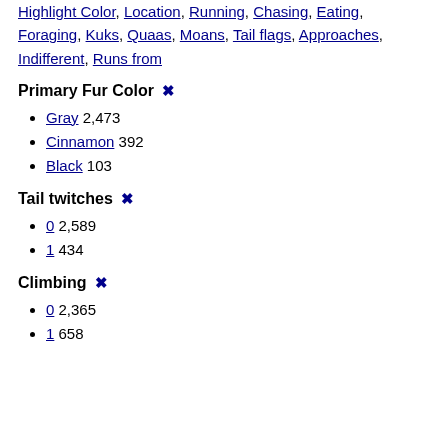Highlight Color, Location, Running, Chasing, Eating, Foraging, Kuks, Quaas, Moans, Tail flags, Approaches, Indifferent, Runs from
Primary Fur Color ✖
Gray 2,473
Cinnamon 392
Black 103
Tail twitches ✖
0 2,589
1 434
Climbing ✖
0 2,365
1 658